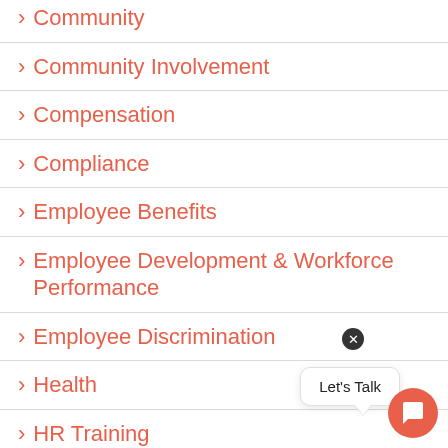> Community
> Community Involvement
> Compensation
> Compliance
> Employee Benefits
> Employee Development & Workforce Performance
> Employee Discrimination
> Health
> HR Training